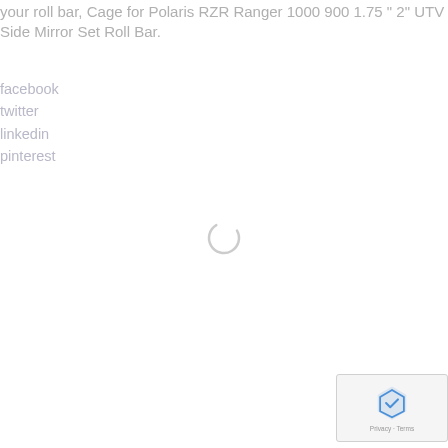your roll bar, Cage for Polaris RZR Ranger 1000 900 1.75 " 2" UTV Side Mirror Set Roll Bar.
facebook
twitter
linkedin
pinterest
[Figure (other): Loading spinner — partial circle arc indicating page content loading]
[Figure (other): reCAPTCHA widget box with logo and Privacy · Terms text]